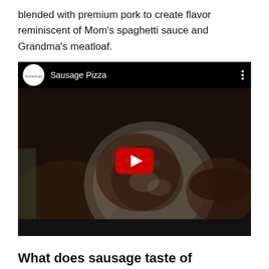blended with premium pork to create flavor reminiscent of Mom's spaghetti sauce and Grandma's meatloaf.
[Figure (screenshot): YouTube video embed showing 'Sausage Pizza' — a dark video thumbnail of pizza being assembled, with a YouTube play button in the center, channel icon on the left, video title 'Sausage Pizza' in white text, and three-dot menu icon on the right.]
What does sausage taste of...